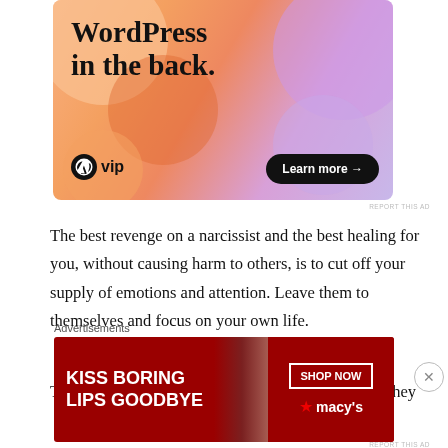[Figure (illustration): WordPress VIP advertisement banner with colorful blob background in orange, peach, and purple tones. Shows 'WordPress in the back.' text with WordPress W logo and 'vip' text, plus a 'Learn more →' button.]
The best revenge on a narcissist and the best healing for you, without causing harm to others, is to cut off your supply of emotions and attention. Leave them to themselves and focus on your own life.
They will discard people often in cruel ways when they
[Figure (illustration): Macy's advertisement banner with red background, woman's face with red lips, text 'KISS BORING LIPS GOODBYE', 'SHOP NOW' button, and Macy's star logo.]